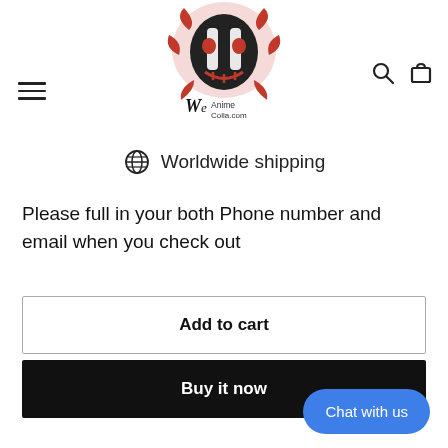[Figure (logo): Anime merchandise website logo with red and black decorative skull/mask illustration above text reading 'We Anime Colla.com']
⊕  Worldwide shipping
Please full in your both Phone number and email when you check out
Add to cart
Buy it now
Chat with us